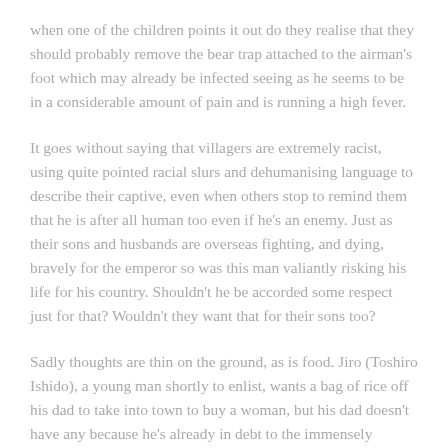when one of the children points it out do they realise that they should probably remove the bear trap attached to the airman's foot which may already be infected seeing as he seems to be in a considerable amount of pain and is running a high fever.
It goes without saying that villagers are extremely racist, using quite pointed racial slurs and dehumanising language to describe their captive, even when others stop to remind them that he is after all human too even if he's an enemy. Just as their sons and husbands are overseas fighting, and dying, bravely for the emperor so was this man valiantly risking his life for his country. Shouldn't he be accorded some respect just for that? Wouldn't they want that for their sons too?
Sadly thoughts are thin on the ground, as is food. Jiro (Toshiro Ishido), a young man shortly to enlist, wants a bag of rice off his dad to take into town to buy a woman, but his dad doesn't have any because he's already in debt to the immensely corrupt village chief